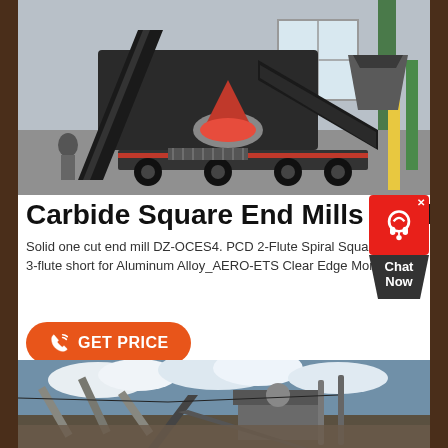[Figure (photo): Industrial mobile crusher/screening machine photographed indoors in a warehouse or factory setting. Large black conveyor belt systems, cone crusher visible in center, mounted on heavy-duty wheeled trailer chassis. Person visible at left for scale.]
Carbide Square End Mills product
Solid one cut end mill DZ-OCES4. PCD 2-Flute Spiral Square End M
3-flute short for Aluminum Alloy_AERO-ETS Clear Edge Monocrys
[Figure (screenshot): Chat Now widget - red square with white headset icon, close X button, and dark diamond/chevron shape below with 'Chat Now' text in white]
[Figure (infographic): Orange rounded rectangle button with phone/call icon on left and text GET PRICE in white bold capitals]
[Figure (photo): Outdoor industrial quarry/mining crushing plant. Multiple conveyors and crushing equipment visible against cloudy sky. Dust and industrial equipment in outdoor setting.]